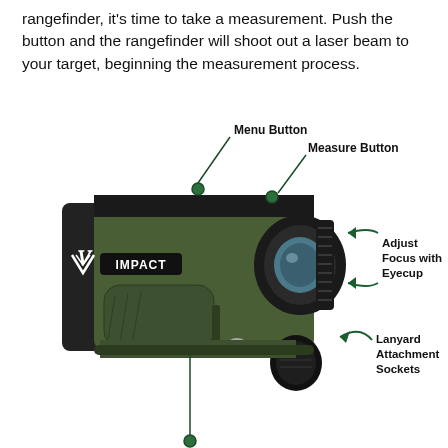rangefinder, it's time to take a measurement. Push the button and the rangefinder will shoot out a laser beam to your target, beginning the measurement process.
[Figure (illustration): Annotated diagram of a Vortex IMPACT rangefinder showing labeled parts: Menu Button (top left), Measure Button (top center), Adjust Focus with Eyecup (right side with curved arrows), Lanyard Attachment Sockets (bottom right), and an arrow pointing to the base of the device.]